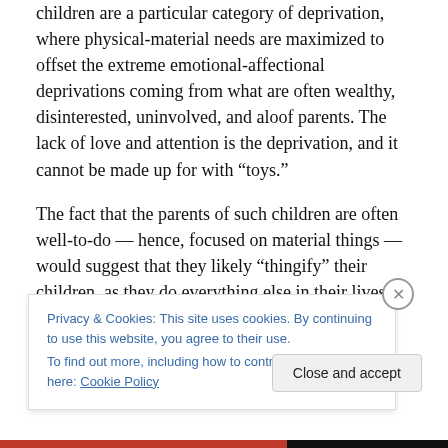children are a particular category of deprivation, where physical-material needs are maximized to offset the extreme emotional-affectional deprivations coming from what are often wealthy, disinterested, uninvolved, and aloof parents. The lack of love and attention is the deprivation, and it cannot be made up for with “toys.”
The fact that the parents of such children are often well-to-do — hence, focused on material things — would suggest that they likely “thingify” their children, as they do everything else in their lives. Such parents will often “manage” their children’s needs — having others to care
Privacy & Cookies: This site uses cookies. By continuing to use this website, you agree to their use.
To find out more, including how to control cookies, see here: Cookie Policy
Close and accept